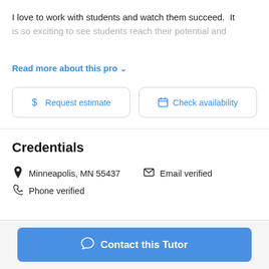I love to work with students and watch them succeed.  It is so exciting to see students reach their potential and
Read more about this pro ∨
$ Request estimate
🗓 Check availability
Credentials
📍 Minneapolis, MN 55437   ✉ Email verified
📞 Phone verified
Contact this Tutor